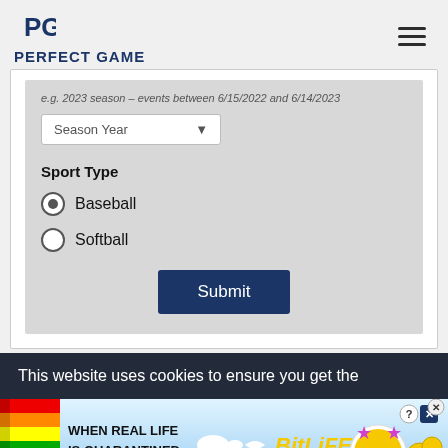PERFECT GAME
e.g. 2023 season – events between 6/15/2022 and 6/14/2023
Season Year
Sport Type
Baseball (selected)
Softball
Submit
This website uses cookies to ensure you get the
[Figure (illustration): BitLife advertisement banner with rainbow, sperm emoji characters, masked face character, coins, and text 'WHEN REAL LIFE IS QUARANTINED BitLife']